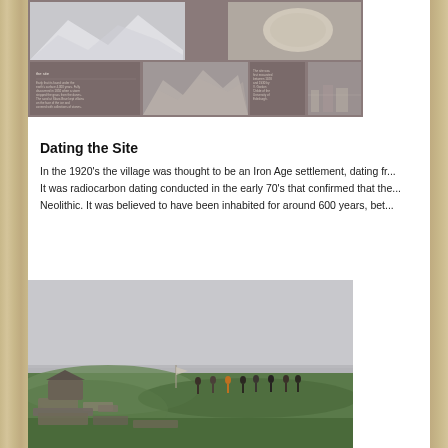[Figure (photo): An interpretive sign board with historic black and white photographs and text about an archaeological site, displayed outdoors.]
Dating the Site
In the 1920's the village was thought to be an Iron Age settlement, dating fr... It was radiocarbon dating conducted in the early 70's that confirmed that the... Neolithic. It was believed to have been inhabited for around 600 years, bet...
[Figure (photo): A misty outdoor scene showing people standing on a grassy hillside or archaeological site with low ruins visible in the foreground, under an overcast sky.]